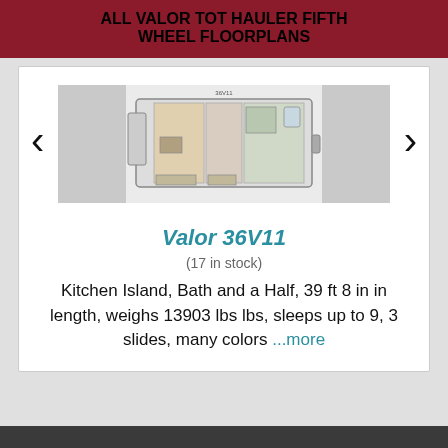ALL VALOR TOT HAULER FIFTH WHEEL FLOORPLANS
[Figure (illustration): RV fifth wheel floorplan diagram showing interior layout of Valor 36V11, with navigation arrows on left and right sides and partial views of adjacent floorplans]
Valor 36V11
(17 in stock)
Kitchen Island, Bath and a Half, 39 ft 8 in in length, weighs 13903 lbs lbs, sleeps up to 9, 3 slides, many colors ...more